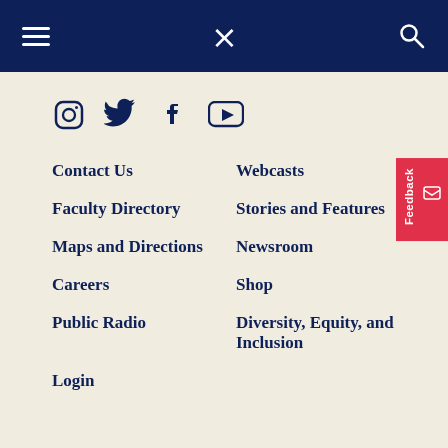Navigation bar with hamburger menu, logo, and search icon
[Figure (other): Social media icons: Instagram, Twitter, Facebook, YouTube in dark navy]
Contact Us
Webcasts
Faculty Directory
Stories and Features
Maps and Directions
Newsroom
Careers
Shop
Public Radio
Diversity, Equity, and Inclusion
Login